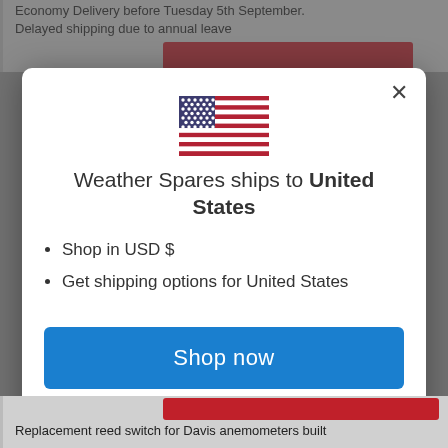Economy Delivery before Tuesday 5th September. Delayed shipping due to annual leave
[Figure (screenshot): Modal dialog: Weather Spares ships to United States, with US flag, bullet list, Shop now button, and Change shipping country link]
Replacement reed switch for Davis anemometers built